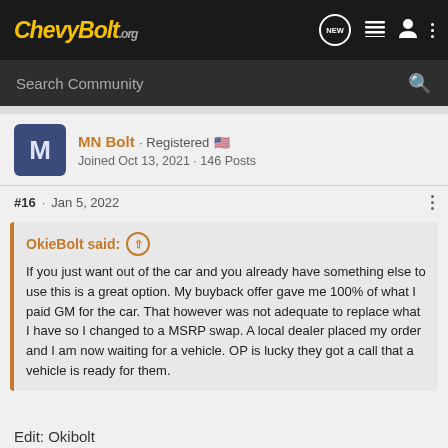ChevyBolt.org — New | List | User | More
Search Community
MN Bolt · Registered 🇺🇸
Joined Oct 13, 2021 · 146 Posts
#16 · Jan 5, 2022
OkieBolt said: ↑
If you just want out of the car and you already have something else to use this is a great option. My buyback offer gave me 100% of what I paid GM for the car. That however was not adequate to replace what I have so I changed to a MSRP swap. A local dealer placed my order and I am now waiting for a vehicle. OP is lucky they got a call that a vehicle is ready for them.
Edit: Okibolt